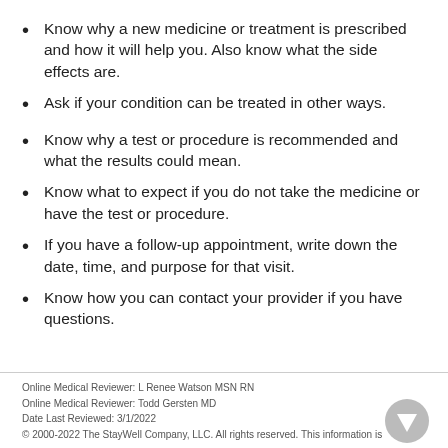Know why a new medicine or treatment is prescribed and how it will help you. Also know what the side effects are.
Ask if your condition can be treated in other ways.
Know why a test or procedure is recommended and what the results could mean.
Know what to expect if you do not take the medicine or have the test or procedure.
If you have a follow-up appointment, write down the date, time, and purpose for that visit.
Know how you can contact your provider if you have questions.
Online Medical Reviewer: L Renee Watson MSN RN
Online Medical Reviewer: Todd Gersten MD
Date Last Reviewed: 3/1/2022
© 2000-2022 The StayWell Company, LLC. All rights reserved. This information is